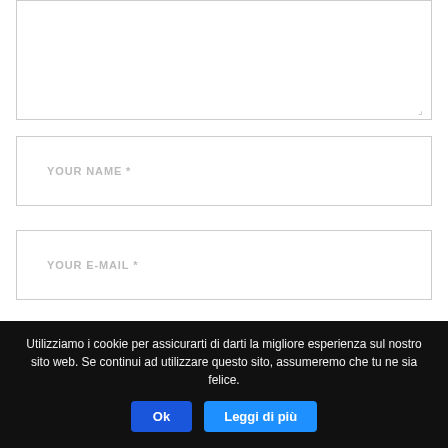[Figure (screenshot): Empty textarea input field with resize handle at bottom right]
[Figure (screenshot): Text input field with placeholder YOUR NAME *]
[Figure (screenshot): Text input field with placeholder YOUR E-MAIL *]
[Figure (screenshot): Text input field with placeholder YOUR WEBSITE]
Utilizziamo i cookie per assicurarti di darti la migliore esperienza sul nostro sito web. Se continui ad utilizzare questo sito, assumeremo che tu ne sia felice.
Ok
Leggi di più